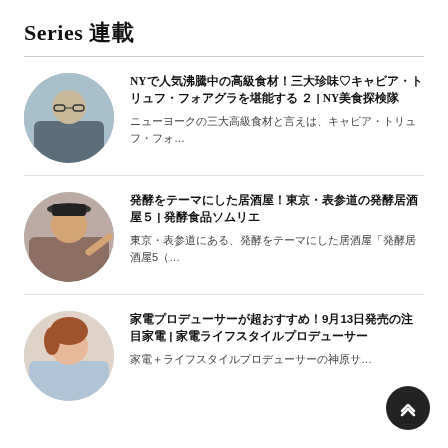Series 連載
NYで人気沸騰中の高級食材！三大珍味♡キャビア・トリュフ・フォアグラを堪能する ２ | NY美食探検隊
ニューヨークの三大高級食材と言えは、キャビア・トリュフ・フォ…
発酵をテーマにした居酒屋！東京・表参道の発酵居酒屋５ | 発酵食品ソムリエ
東京・表参道にある、発酵をテーマにした居酒屋「発酵居酒屋5（…
家電プロデューサーが超おすすめ！9月13日発売の注目家電 | 家電ライフスタイルプロデューサー
家電＋ライフスタイルプロデューサーの神原サ…